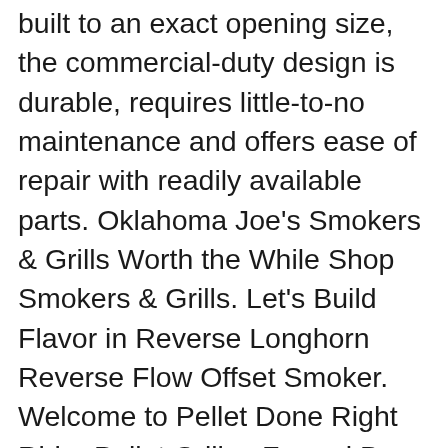built to an exact opening size, the commercial-duty design is durable, requires little-to-no maintenance and offers ease of repair with readily available parts. Oklahoma Joe's Smokers & Grills Worth the While Shop Smokers & Grills. Let's Build Flavor in Reverse Longhorn Reverse Flow Offset Smoker. Welcome to Pellet Done Right Rider Pellet Grills . Forged By Grit and Grease Since 1987. When Joe Davidson showed up to the 1987 Oklahoma State Fair with a dozen handmade smokers, people just couldn't get enough. By the time he left, he had sold all of his
Whether cooking for one or feeding the neighborhood, find the best barbecue